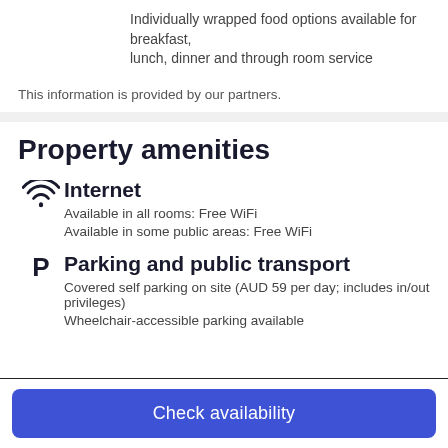Individually wrapped food options available for breakfast, lunch, dinner and through room service
This information is provided by our partners.
Property amenities
Internet
Available in all rooms: Free WiFi
Available in some public areas: Free WiFi
Parking and public transport
Covered self parking on site (AUD 59 per day; includes in/out privileges)
Wheelchair-accessible parking available
Check availability